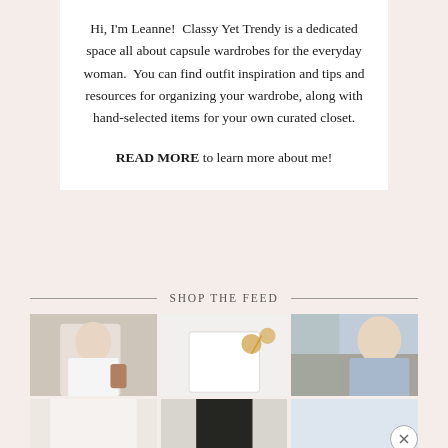Hi, I'm Leanne!  Classy Yet Trendy is a dedicated space all about capsule wardrobes for the everyday woman.  You can find outfit inspiration and tips and resources for organizing your wardrobe, along with hand-selected items for your own curated closet.

READ MORE to learn more about me!
SHOP THE FEED
[Figure (photo): Grid of fashion/outfit photos including woman in white shirt, white top with jewelry, woman in light blue dress outdoors, and partial lower row photos]